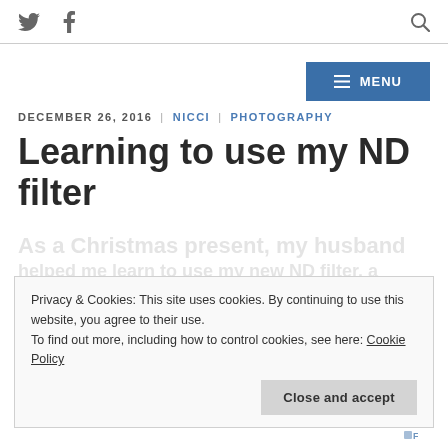Twitter icon | Facebook icon | Search icon | MENU
DECEMBER 26, 2016 | NICCI | PHOTOGRAPHY
Learning to use my ND filter
Privacy & Cookies: This site uses cookies. By continuing to use this website, you agree to their use. To find out more, including how to control cookies, see here: Cookie Policy
Close and accept